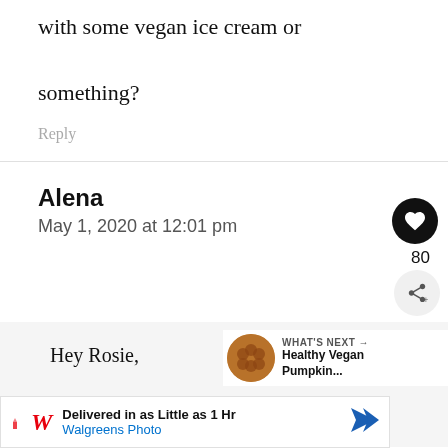with some vegan ice cream or something?
Reply
Alena
May 1, 2020 at 12:01 pm
Hey Rosie,
awww so sorry to hear about that! I
[Figure (infographic): What's Next box with thumbnail image and text 'Healthy Vegan Pumpkin...']
[Figure (infographic): Advertisement bar: Walgreens Photo - Delivered in as Little as 1 Hr]